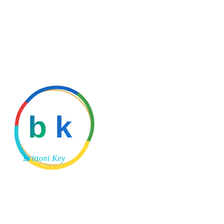[Figure (logo): BK logo: colorful circle with red, blue, yellow, green arc segments forming a ring outline in gold/orange, with bold letters 'bk' inside — 'b' in blue-to-green gradient and 'k' in blue — and a cursive signature 'Brittoni Key' in cyan/turquoise below the circle]